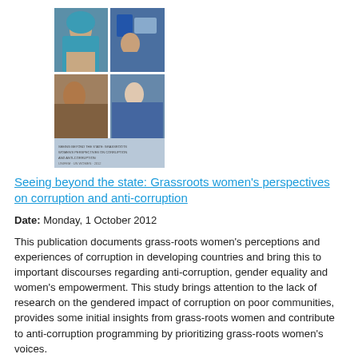[Figure (photo): Book cover showing a mosaic of photos of women from various countries, with a light blue/grey banner at the bottom containing small text.]
Seeing beyond the state: Grassroots women's perspectives on corruption and anti-corruption
Date: Monday, 1 October 2012
This publication documents grass-roots women's perceptions and experiences of corruption in developing countries and bring this to important discourses regarding anti-corruption, gender equality and women's empowerment. This study brings attention to the lack of research on the gendered impact of corruption on poor communities, provides some initial insights from grass-roots women and contribute to anti-corruption programming by prioritizing grass-roots women's voices.
[Figure (photo): Photo of a woman wearing blue headscarf and white garment, cropped at the bottom of the page.]